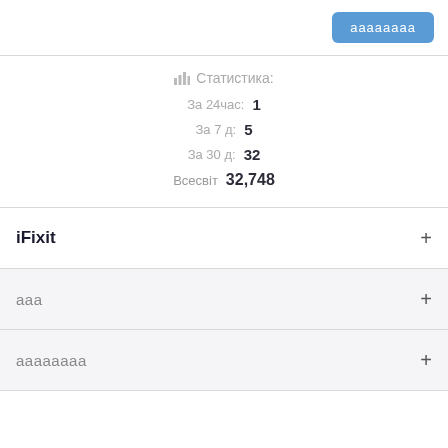кнопка (button label, blue)
Статистика:
За 24часа: 1
За 7 д: 5
За 30 д: 32
Всесвіт 32,748
iFixit +
ааа +
аааааааа +